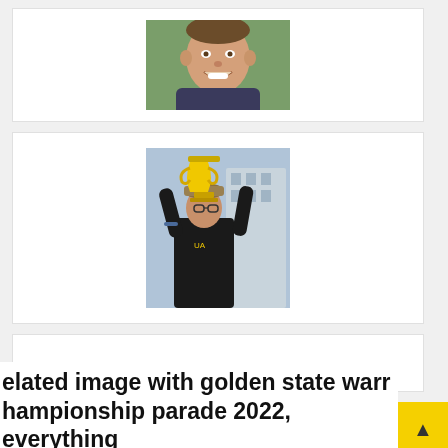[Figure (photo): Headshot of a smiling middle-aged man outdoors with green foliage background]
[Figure (photo): Person holding up a large golden trophy at a parade, wearing a black outfit and tan cap]
[Figure (photo): Empty white card placeholder]
elated image with golden state warr championship parade 2022, everything...